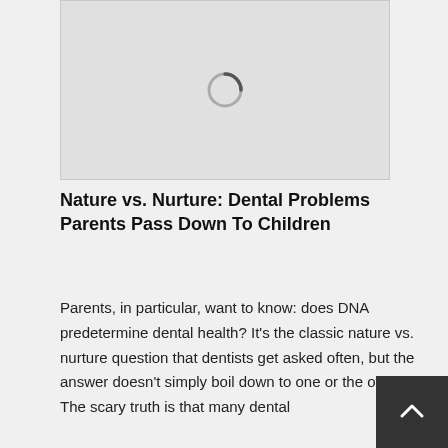[Figure (other): Loading spinner icon on a light gray background placeholder image area]
Nature vs. Nurture: Dental Problems Parents Pass Down To Children
Parents, in particular, want to know: does DNA predetermine dental health? It's the classic nature vs. nurture question that dentists get asked often, but the answer doesn't simply boil down to one or the other. The scary truth is that many dental